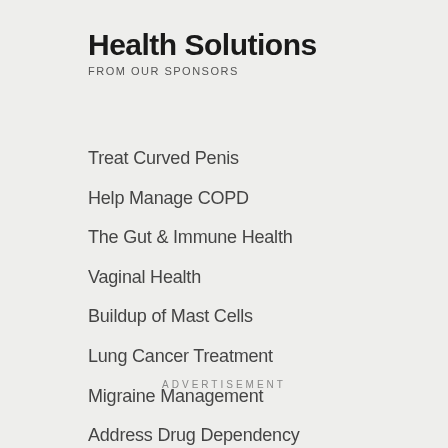Health Solutions
FROM OUR SPONSORS
Treat Curved Penis
Help Manage COPD
The Gut & Immune Health
Vaginal Health
Buildup of Mast Cells
Lung Cancer Treatment
Migraine Management
Address Drug Dependency
HR+, HER2- MBC Info
New ED Treatment
HR+, HER2- MBC Choices
ADVERTISEMENT